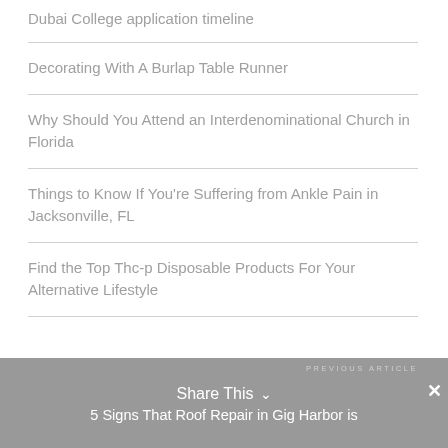Dubai College application timeline
Decorating With A Burlap Table Runner
Why Should You Attend an Interdenominational Church in Florida
Things to Know If You're Suffering from Ankle Pain in Jacksonville, FL
Find the Top Thc-p Disposable Products For Your Alternative Lifestyle
Share This ∨   ✕  PREVIOUS ARTICLE  5 Signs That Roof Repair in Gig Harbor is